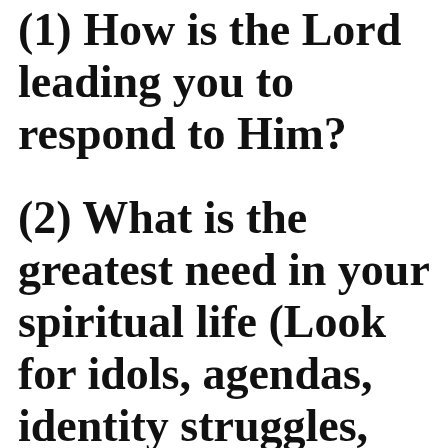(1) How is the Lord leading you to respond to Him?
(2) What is the greatest need in your spiritual life (Look for idols, agendas, identity struggles, and